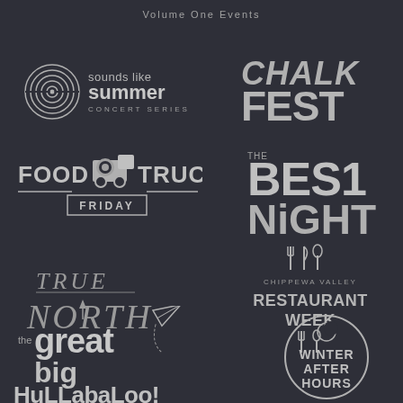Volume One Events
[Figure (logo): Sounds Like Summer Concert Series logo - concentric circles icon with text]
[Figure (logo): Chalk Fest logo - hand-drawn style text]
[Figure (logo): Food Truck Friday logo - truck illustration with banner text]
[Figure (logo): The Best Night logo - bold typography]
[Figure (logo): True North logo - stylized retro typography]
[Figure (logo): Chippewa Valley Restaurant Week logo - utensils icon with text]
[Figure (logo): The Great Big Hullabaloo logo - playful large type with paper airplane]
[Figure (logo): Winter After Hours logo - circular badge with crescent moon]